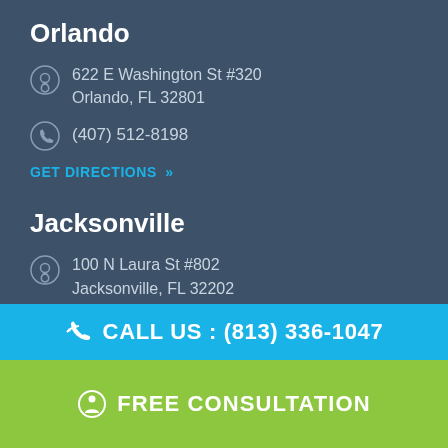Orlando
622 E Washington St #320
Orlando, FL 32801
(407) 512-8198
GET DIRECTIONS »
Jacksonville
100 N Laura St #802
Jacksonville, FL 32202
(904) 977-5248
GET DIRECTIONS »
Miami
CALL US : (813) 336-1047
FREE CONSULTATION